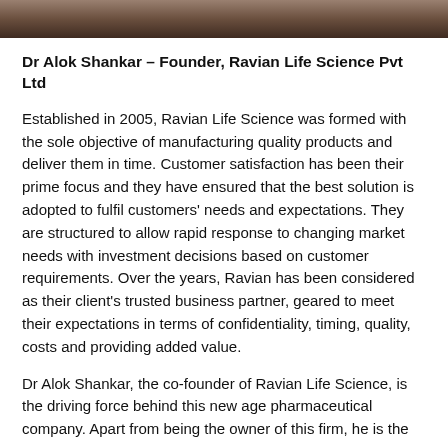[Figure (photo): Partial photo strip at the top of the page, showing a dark brownish/warm-toned image cropped to a thin horizontal band.]
Dr Alok Shankar – Founder, Ravian Life Science Pvt Ltd
Established in 2005, Ravian Life Science was formed with the sole objective of manufacturing quality products and deliver them in time. Customer satisfaction has been their prime focus and they have ensured that the best solution is adopted to fulfil customers' needs and expectations. They are structured to allow rapid response to changing market needs with investment decisions based on customer requirements. Over the years, Ravian has been considered as their client's trusted business partner, geared to meet their expectations in terms of confidentiality, timing, quality, costs and providing added value.
Dr Alok Shankar, the co-founder of Ravian Life Science, is the driving force behind this new age pharmaceutical company. Apart from being the owner of this firm, he is the